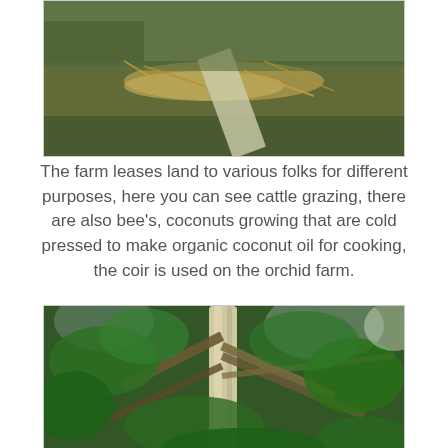[Figure (photo): A ground-level photograph showing dry grass, straw bundles, and a concrete or stone path running diagonally, with some green grass in the background.]
The farm leases land to various folks for different purposes, here you can see cattle grazing, there are also bee's, coconuts growing that are cold pressed to make organic coconut oil for cooking, the coir is used on the orchid farm.
[Figure (photo): A photograph looking up into a tree canopy with a pale-barked trunk in the center, surrounded by dense green tropical foliage and branches against a light sky.]